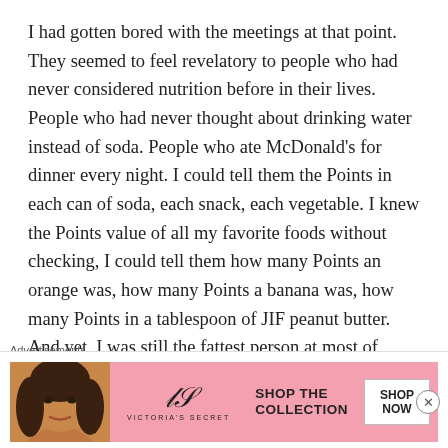I had gotten bored with the meetings at that point. They seemed to feel revelatory to people who had never considered nutrition before in their lives. People who had never thought about drinking water instead of soda. People who ate McDonald's for dinner every night. I could tell them the Points in each can of soda, each snack, each vegetable. I knew the Points value of all my favorite foods without checking, I could tell them how many Points an orange was, how many Points a banana was, how many Points in a tablespoon of JIF peanut butter. And yet, I was still the fattest person at most of these
Advertisements
[Figure (other): Victoria's Secret advertisement banner showing a woman's face on the left, VS logo in center, 'SHOP THE COLLECTION' text, and 'SHOP NOW' button on the right against a pink background.]